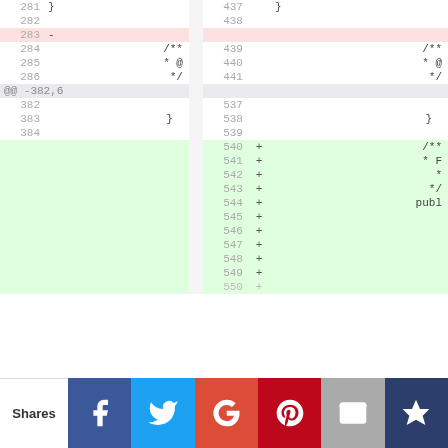| left_ln | left_code | right_ln | right_marker | right_code |
| --- | --- | --- | --- | --- |
| 281 | } | 437 |  | } |
| 282 |  | 438 |  |  |
| 283 | - |  |  |  |
| 284 | /** | 439 |  | /** |
| 285 | * @ | 440 |  | * @ |
| 286 | */ | 441 |  | */ |
|  | @@ -382,6 |  |  |  |
| 382 |  | 537 |  |  |
| 383 | } | 538 |  | } |
| 384 |  | 539 |  |  |
|  |  | 540 | + | /** |
|  |  | 541 | + | * F |
|  |  | 542 | + | * |
|  |  | 543 | + | */ |
|  |  | 544 | + | publ |
|  |  | 545 | + |  |
|  |  | 546 | + |  |
|  |  | 547 | + |  |
|  |  | 548 | + |  |
|  |  | 549 | + |  |
|  |  | 550 | + |  |
Shares